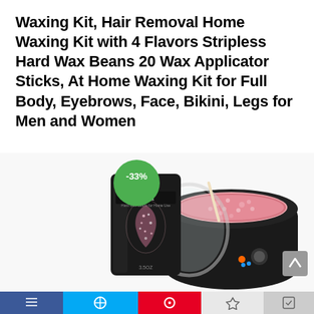Waxing Kit, Hair Removal Home Waxing Kit with 4 Flavors Stripless Hard Wax Beans 20 Wax Applicator Sticks, At Home Waxing Kit for Full Body, Eyebrows, Face, Bikini, Legs for Men and Women
[Figure (photo): Product photo of a Colala waxing kit featuring a black wax warmer pot filled with pink wax beads, a black foil packet with Colala branding and a glitter bikini body design, and a -33% discount badge in green circle. At the bottom is a navigation toolbar with social media icons.]